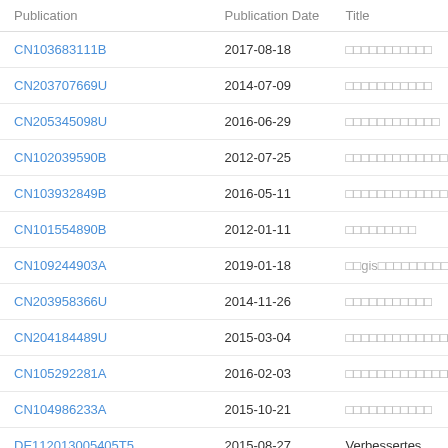| Publication | Publication Date | Title |
| --- | --- | --- |
| CN103683111B | 2017-08-18 | □□□□□□□□□□□ |
| CN203707669U | 2014-07-09 | □□□□□□□□□□□ |
| CN205345098U | 2016-06-29 | □□□□□□□□□□□□ |
| CN102039590B | 2012-07-25 | □□□□□□□□□□□□□ |
| CN103932849B | 2016-05-11 | □□□□□□□□□□□□□ |
| CN101554890B | 2012-01-11 | □□□□□□□□□ |
| CN109244903A | 2019-01-18 | □□gis□□□□□□□□□□□□ |
| CN203958366U | 2014-11-26 | □□□□□□□□□□□ |
| CN204184489U | 2015-03-04 | □□□□□□□□□□□□□□□ |
| CN105292281A | 2016-02-03 | □□□□□□□□□□□□□□ |
| CN104986233A | 2015-10-21 | □□□□□□□□□□□ |
| DE112013005405T5 | 2015-08-27 | Verbessertes |